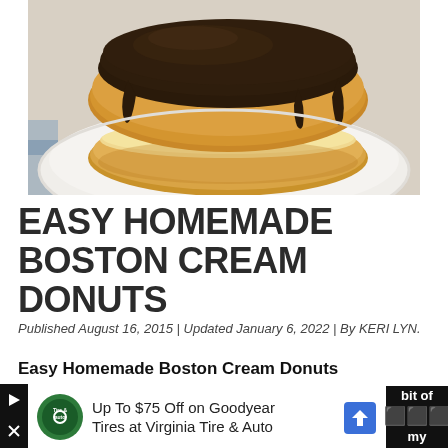[Figure (photo): Close-up photo of a Boston cream donut on a white plate. The donut is split in half showing yellow custard cream filling, topped with thick dark chocolate glaze that drips down the sides. Blue and white checkered background visible.]
EASY HOMEMADE BOSTON CREAM DONUTS
Published August 16, 2015 | Updated January 6, 2022 | By KERI LYN.
Easy Homemade Boston Cream Donuts Delicious doesn't always have to be difficult! I'm the first to admit that this recipe for EASY
H... bit of a... my
[Figure (other): Advertisement banner: Up To $75 Off on Goodyear Tires at Virginia Tire & Auto. Shows Tire & Auto logo on left and blue navigation arrow icon on right.]